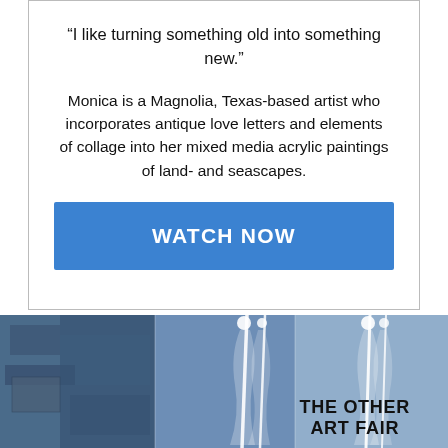“I like turning something old into something new.”
Monica is a Magnolia, Texas-based artist who incorporates antique love letters and elements of collage into her mixed media acrylic paintings of land- and seascapes.
WATCH NOW
[Figure (photo): Blue abstract mixed media painting showing layered textures with vertical white lines and varying shades of blue; overlaid with text THE OTHER ART FAIR]
THE OTHER ART FAIR